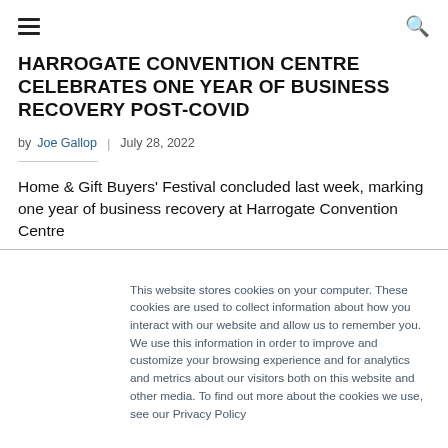≡  🔍
HARROGATE CONVENTION CENTRE CELEBRATES ONE YEAR OF BUSINESS RECOVERY POST-COVID
by Joe Gallop  |  July 28, 2022
Home & Gift Buyers' Festival concluded last week, marking one year of business recovery at Harrogate Convention Centre
This website stores cookies on your computer. These cookies are used to collect information about how you interact with our website and allow us to remember you. We use this information in order to improve and customize your browsing experience and for analytics and metrics about our visitors both on this website and other media. To find out more about the cookies we use, see our Privacy Policy
Accept